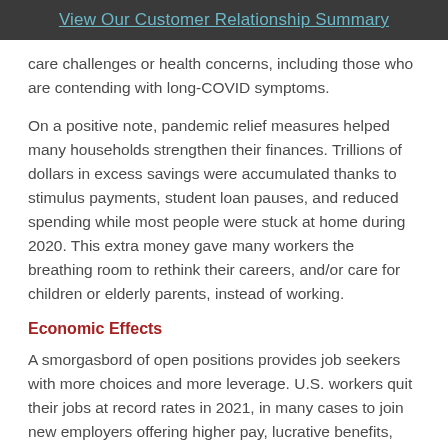View Our Customer Relationship Summary
care challenges or health concerns, including those who are contending with long-COVID symptoms.
On a positive note, pandemic relief measures helped many households strengthen their finances. Trillions of dollars in excess savings were accumulated thanks to stimulus payments, student loan pauses, and reduced spending while most people were stuck at home during 2020. This extra money gave many workers the breathing room to rethink their careers, and/or care for children or elderly parents, instead of working.
Economic Effects
A smorgasbord of open positions provides job seekers with more choices and more leverage. U.S. workers quit their jobs at record rates in 2021, in many cases to join new employers offering higher pay, lucrative benefits, better working conditions, or